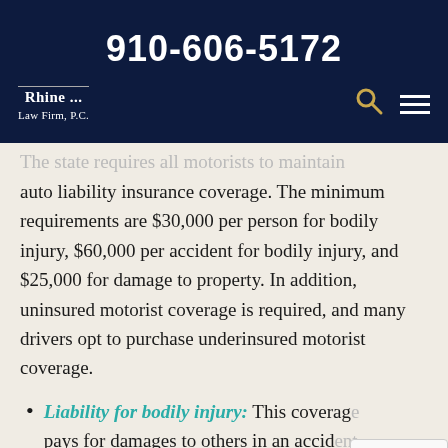910-606-5172
[Figure (logo): Rhine Law Firm, P.C. logo in white text on dark navy background]
The state requires all motorists to maintain auto liability insurance coverage. The minimum requirements are $30,000 per person for bodily injury, $60,000 per accident for bodily injury, and $25,000 for damage to property. In addition, uninsured motorist coverage is required, and many drivers opt to purchase underinsured motorist coverage.
Liability for bodily injury: This coverage pays for damages to others in an accident. Examples include expenses for medical